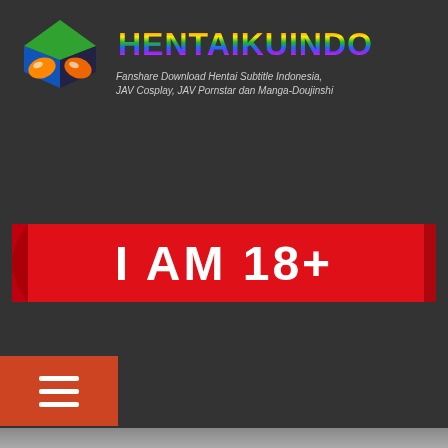[Figure (logo): Colorful 3D cube logo with orange and white shapes on faces, blue and green panels]
HENTAIKUINDO
Fanshare Download Hentai Subtitle Indonesia, JAV Cosplay, JAV Pornstar dan Manga-Doujinshi
[Figure (other): Red button with white bold text 'I AM 18+']
[Figure (other): Orange-red hamburger menu button with three white lines]